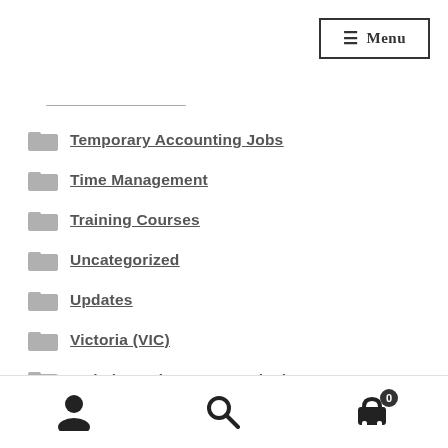☰ Menu
Temporary Accounting Jobs
Time Management
Training Courses
Uncategorized
Updates
Victoria (VIC)
Website and Internet Marketing
Website Design
User icon | Search icon | Cart (0)